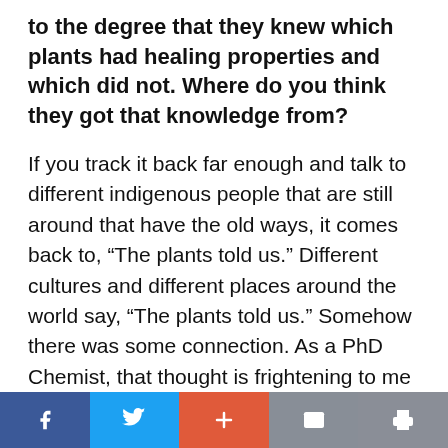to the degree that they knew which plants had healing properties and which did not. Where do you think they got that knowledge from?
If you track it back far enough and talk to different indigenous people that are still around that have the old ways, it comes back to, “The plants told us.” Different cultures and different places around the world say, “The plants told us.” Somehow there was some connection. As a PhD Chemist, that thought is frightening to me because it implies a whole extra side of things that I can’t see and
Facebook | Twitter | + | Mail | Print